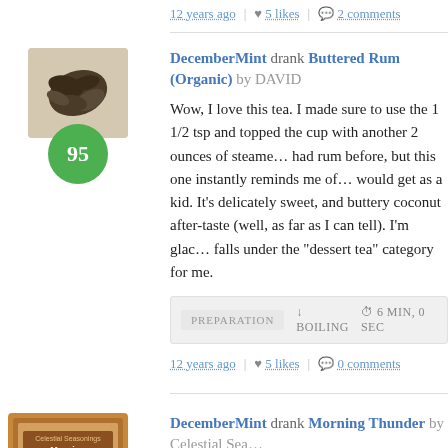12 years ago | 5 likes | 2 comments
DecemberMint drank Buttered Rum (Organic) by DAVID
Wow, I love this tea. I made sure to use the 1 1/2 tsp and topped the cup with another 2 ounces of steame... had rum before, but this one instantly reminds me of... would get as a kid. It's delicately sweet, and buttery... coconut after-taste (well, as far as I can tell). I'm glac... falls under the “dessert tea” category for me.
PREPARATION | BOILING | 6 MIN, 0 SEC
12 years ago | 5 likes | 0 comments
DecemberMint drank Morning Thunder by Celestial Sea...
I admit, I purchased this tea today because of the ni...